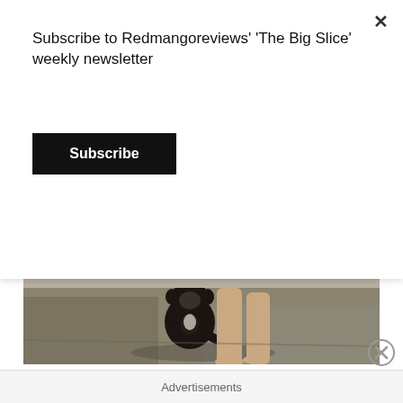Subscribe to Redmangoreviews' 'The Big Slice' weekly newsletter
Subscribe
[Figure (photo): A chimpanzee walking alongside a person's bare legs on a paved outdoor surface, black and white toned image]
They'll never make monkeys out of us
This late 80s, early 90s series was just so fun and endearing. Quantum Leap featured the adventures of former scientist Dr Sam Beckett (a very likeable Scott Bakula) travelling through time by "leaping" into
Advertisements